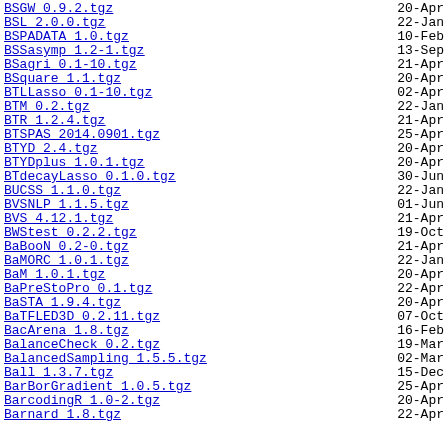BSGW 0.9.2.tgz    20-Apr
BSL 2.0.0.tgz    22-Jan
BSPADATA 1.0.tgz    10-Feb
BSSasymp 1.2-1.tgz    13-Sep
BSagri 0.1-10.tgz    21-Apr
BSquare 1.1.tgz    20-Apr
BTLLasso 0.1-10.tgz    02-Apr
BTM 0.2.tgz    22-Jan
BTR 1.2.4.tgz    21-Apr
BTSPAS 2014.0901.tgz    25-Apr
BTYD 2.4.tgz    20-Apr
BTYDplus 1.0.1.tgz    20-Apr
BTdecayLasso 0.1.0.tgz    30-Jun
BUCSS 1.1.0.tgz    22-Jan
BVSNLP 1.1.5.tgz    01-Jun
BVS 4.12.1.tgz    21-Apr
BWStest 0.2.2.tgz    19-Oct
BaBooN 0.2-0.tgz    21-Apr
BaMORC 1.0.1.tgz    22-Jan
BaM 1.0.1.tgz    20-Apr
BaPreStoPro 0.1.tgz    22-Apr
BaSTA 1.9.4.tgz    20-Apr
BaTFLED3D 0.2.11.tgz    07-Oct
BacArena 1.8.tgz    16-Feb
BalanceCheck 0.2.tgz    19-Mar
BalancedSampling 1.5.5.tgz    02-Mar
Ball 1.3.7.tgz    15-Dec
BarBorGradient 1.0.5.tgz    25-Apr
BarcodingR 1.0-2.tgz    20-Apr
Barnard 1.8.tgz    22-Apr